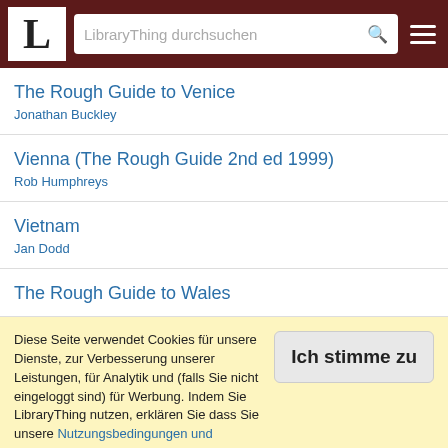LibraryThing durchsuchen
The Rough Guide to Venice
Jonathan Buckley
Vienna (The Rough Guide 2nd ed 1999)
Rob Humphreys
Vietnam
Jan Dodd
The Rough Guide to Wales
Diese Seite verwendet Cookies für unsere Dienste, zur Verbesserung unserer Leistungen, für Analytik und (falls Sie nicht eingeloggt sind) für Werbung. Indem Sie LibraryThing nutzen, erklären Sie dass Sie unsere Nutzungsbedingungen und Datenschutzrichtlinie gelesen und verstanden haben. Die Nutzung unserer Webseite und Dienste unterliegt diesen Richtlinien und Geschäftsbedingungen.